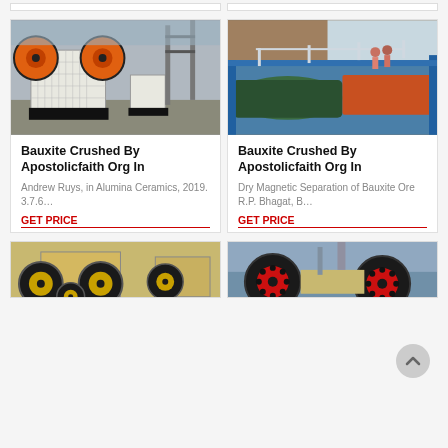[Figure (photo): Jaw crusher machine in industrial warehouse setting with orange flywheel]
[Figure (photo): Blue industrial conveyor/separator machinery outdoors at mining site]
Bauxite Crushed By Apostolicfaith Org In
Andrew Ruys, in Alumina Ceramics, 2019. 3.7.6…
GET PRICE
Bauxite Crushed By Apostolicfaith Org In
Dry Magnetic Separation of Bauxite Ore R.P. Bhagat, B…
GET PRICE
[Figure (photo): Industrial roller/crusher machines with yellow and black finish]
[Figure (photo): Industrial crushing machines with red and black circular rollers in factory]